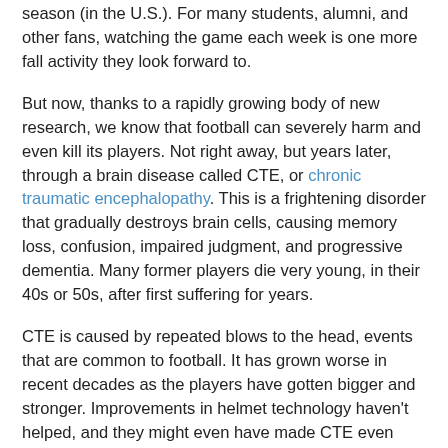season (in the U.S.). For many students, alumni, and other fans, watching the game each week is one more fall activity they look forward to.
But now, thanks to a rapidly growing body of new research, we know that football can severely harm and even kill its players. Not right away, but years later, through a brain disease called CTE, or chronic traumatic encephalopathy. This is a frightening disorder that gradually destroys brain cells, causing memory loss, confusion, impaired judgment, and progressive dementia. Many former players die very young, in their 40s or 50s, after first suffering for years.
CTE is caused by repeated blows to the head, events that are common to football. It has grown worse in recent decades as the players have gotten bigger and stronger. Improvements in helmet technology haven't helped, and they might even have made CTE even worse, because the helmets allowed players (by their own admission) to use their heads as battering rams.
Two years ago now, a large medical study of football players' brains showed that...